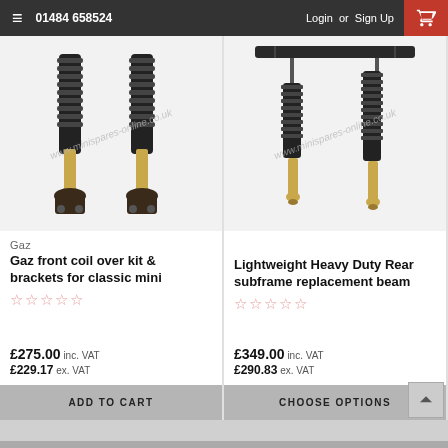≡  01484 658524   Login  or  Sign Up
[Figure (photo): Photo of Gaz front coil over shock absorbers with gold/brass lower mounts against white background with minispares-online.co.uk watermark]
Gaz
Gaz front coil over kit & brackets for classic mini
☆☆☆☆☆
£275.00 inc. VAT
£229.17 ex. VAT
ADD TO CART
[Figure (photo): Photo of two Lightweight Heavy Duty rear shock absorbers with gold lower mounts, with a subframe beam visible at top, against white background with minispares-online.co.uk watermark]
Lightweight Heavy Duty Rear subframe replacement beam
☆☆☆☆☆
£349.00 inc. VAT
£290.83 ex. VAT
CHOOSE OPTIONS